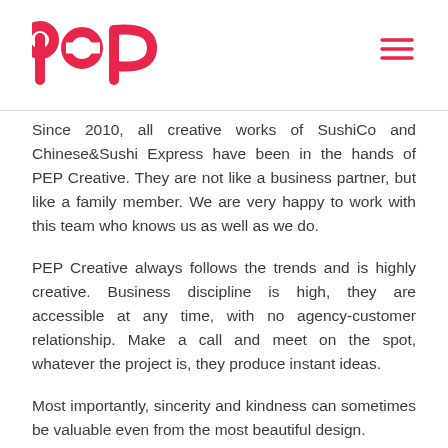[Figure (logo): PEP logo in pink/red color]
Since 2010, all creative works of SushiCo and Chinese&Sushi Express have been in the hands of PEP Creative. They are not like a business partner, but like a family member. We are very happy to work with this team who knows us as well as we do.
PEP Creative always follows the trends and is highly creative. Business discipline is high, they are accessible at any time, with no agency-customer relationship. Make a call and meet on the spot, whatever the project is, they produce instant ideas.
Most importantly, sincerity and kindness can sometimes be valuable even from the most beautiful design.
Working with Pep Team as a its Partner, PEP...